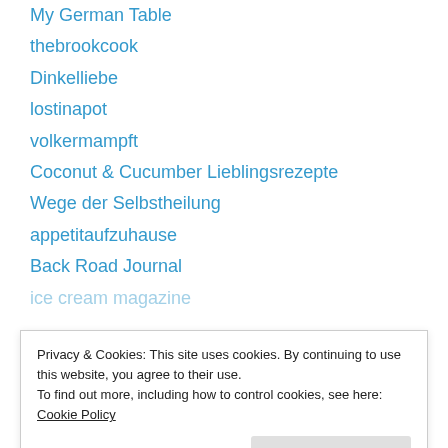My German Table
thebrookcook
Dinkelliebe
lostinapot
volkermampft
Coconut & Cucumber Lieblingsrezepte
Wege der Selbstheilung
appetitaufzuhause
Back Road Journal
ice cream magazine
Privacy & Cookies: This site uses cookies. By continuing to use this website, you agree to their use.
To find out more, including how to control cookies, see here: Cookie Policy
Baking 🍪 and North Wales Food Blog